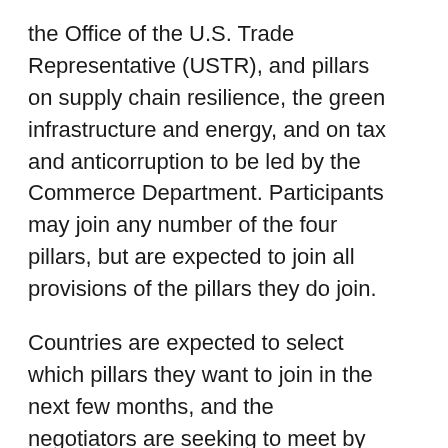the Office of the U.S. Trade Representative (USTR), and pillars on supply chain resilience, the green infrastructure and energy, and on tax and anticorruption to be led by the Commerce Department. Participants may join any number of the four pillars, but are expected to join all provisions of the pillars they do join.
Countries are expected to select which pillars they want to join in the next few months, and the negotiators are seeking to meet by mid-summer to assess progress. Within twelve to eighteen months, they hope to have negotiations concluded. The APEC Leaders’ Meeting in November 2023 is seen as the informal deadline.
Building off of Crowell’s previous client alert, updates regarding what is known about the four pillars are